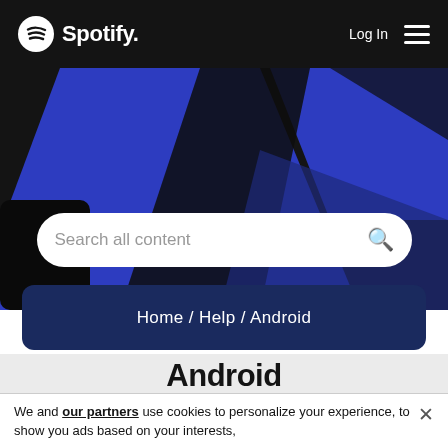[Figure (screenshot): Spotify logo in white on dark header bar with hamburger menu and Log In text]
Log In
[Figure (infographic): Blue diagonal geometric shapes on dark background hero banner]
Search all content
Home / Help / Android
Android
START A TOPIC
Options  1  ...  1702  1703  1704  ...  1749
We and our partners use cookies to personalize your experience, to show you ads based on your interests,